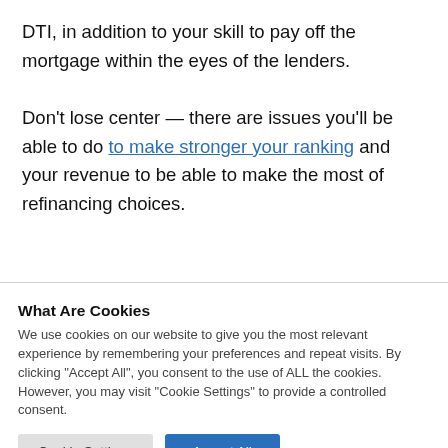DTI, in addition to your skill to pay off the mortgage within the eyes of the lenders.

Don't lose center — there are issues you'll be able to do to make stronger your ranking and your revenue to be able to make the most of refinancing choices.
What Are Cookies
We use cookies on our website to give you the most relevant experience by remembering your preferences and repeat visits. By clicking "Accept All", you consent to the use of ALL the cookies. However, you may visit "Cookie Settings" to provide a controlled consent.